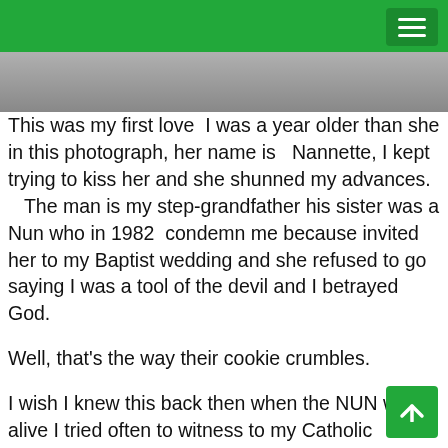[Figure (photo): A cropped photograph strip showing partial image, appears to be a vintage photograph]
This was my first love  I was a year older than she in this photograph, her name is   Nannette, I kept trying to kiss her and she shunned my advances.    The man is my step-grandfather his sister was a Nun who in 1982  condemn me because invited her to my Baptist wedding and she refused to go saying I was a tool of the devil and I betrayed God.
Well, that's the way their cookie crumbles.
I wish I knew this back then when the NUN was alive I tried often to witness to my Catholic relatives and could not penetrate their armor of ignorance and license to sin.
For a  $1.99 watching this will help confirm your worst fears I tried to get the evangelist of the film festival to show one year and target the  Nuns with hopes of salvation, he refused boldly God on his part to the cause and his